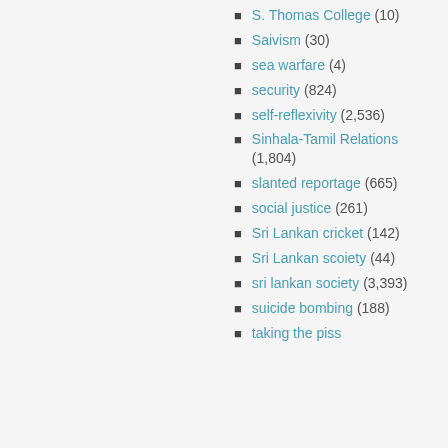S. Thomas College (10)
Saivism (30)
sea warfare (4)
security (824)
self-reflexivity (2,536)
Sinhala-Tamil Relations (1,804)
slanted reportage (665)
social justice (261)
Sri Lankan cricket (142)
Sri Lankan scoiety (44)
sri lankan society (3,393)
suicide bombing (188)
taking the piss